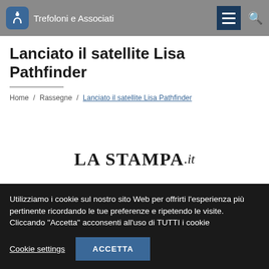Trefoloni e Associati
Lanciato il satellite Lisa Pathfinder
Home / Rassegne / Lanciato il satellite Lisa Pathfinder
[Figure (logo): LA STAMPA.it logo in bold serif uppercase font]
Utilizziamo i cookie sul nostro sito Web per offrirti l'esperienza più pertinente ricordando le tue preferenze e ripetendo le visite. Cliccando "Accetta" acconsenti all'uso di TUTTI i cookie
Cookie settings   ACCETTA